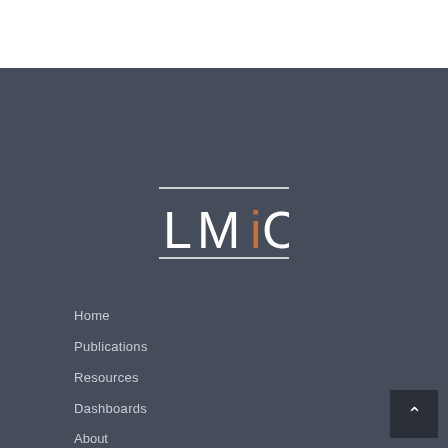[Figure (logo): LMiC logo with horizontal lines above and below the text, letter i colored orange]
Home
Publications
Resources
Dashboards
About